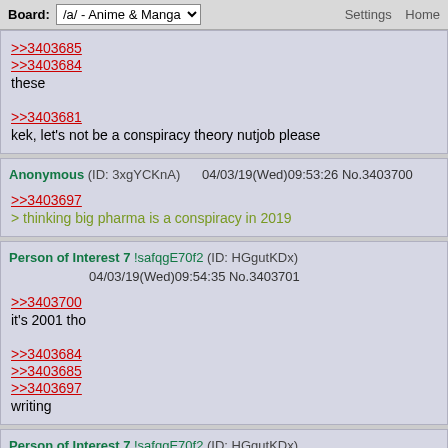Board: /a/ - Anime & Manga   Settings  Home
>>3403685
>>3403684
these

>>3403681
kek, let's not be a conspiracy theory nutjob please
Anonymous (ID: 3xgYCKnA) 04/03/19(Wed)09:53:26 No.3403700
>>3403697
> thinking big pharma is a conspiracy in 2019
Person of Interest 7 !safqgE70f2 (ID: HGgutKDx) 04/03/19(Wed)09:54:35 No.3403701
>>3403700
it's 2001 tho

>>3403684
>>3403685
>>3403697
writing
Person of Interest 7 !safqgE70f2 (ID: HGgutKDx) 04/03/19(Wed)11:36:04 No.3403775